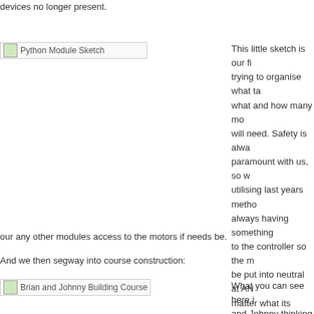devices no longer present.
[Figure (photo): Python Module Sketch]
This little sketch is our fi... trying to organise what ta... what and how many mo... will need. Safety is alwa... paramount with us, so w... utilising last years metho... always having something... to the controller so the m... be put into neutral at AN... matter what its doing. Th... probably be done with th... thread running permanen... background always listen... specific button press and...
our any other modules access to the motors if needs be.
And we then segway into course construction:
[Figure (photo): Brian and Johnny Building Course]
What you can see here i... and Johnny thinking way... about the course measur... They are perfectionists (... love) but are slightly stifl...